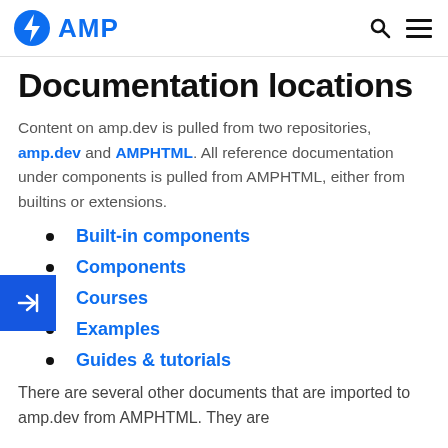AMP
Documentation locations
Content on amp.dev is pulled from two repositories, amp.dev and AMPHTML. All reference documentation under components is pulled from AMPHTML, either from builtins or extensions.
Built-in components
Components
Courses
Examples
Guides & tutorials
There are several other documents that are imported to amp.dev from AMPHTML. They are